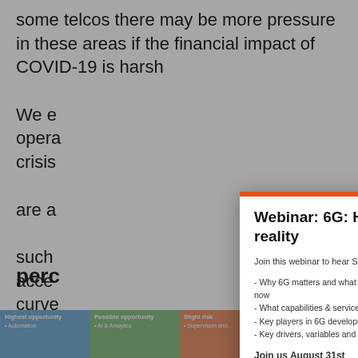some telcos there may be more pressure in these areas if the financial impact of COVID-19 is harsh[er than expected].
We e[xpect] operat[ors facing] crisis [situations] are a[lso using] such [strategies to] acce[lerate the learning] curve[.]
perc[ent]
| Highest opportunity | Possible opportunity | Slight risk | Higher risk |
| --- | --- | --- | --- |
| • Automation | • AI & Analytics | • Supervision and... | • Developing 5G RAN... |
[Figure (other): Webinar modal popup overlay with orange top bar and close button]
Webinar: 6G: Hype versus reality
Join this webinar to hear STL's view on:
- Why 6G matters and what we can be certain about now
- What capabilities & services 6G will power
- Key players in 6G development
- Key drivers, variables and barriers for 6G
Join us August 31st
Register for the webinar here